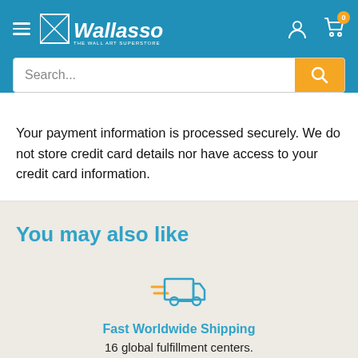Wallasso — navigation header with search bar
Your payment information is processed securely. We do not store credit card details nor have access to your credit card information.
You may also like
[Figure (illustration): Fast delivery truck icon in blue outline style with speed lines]
Fast Worldwide Shipping
16 global fulfillment centers.